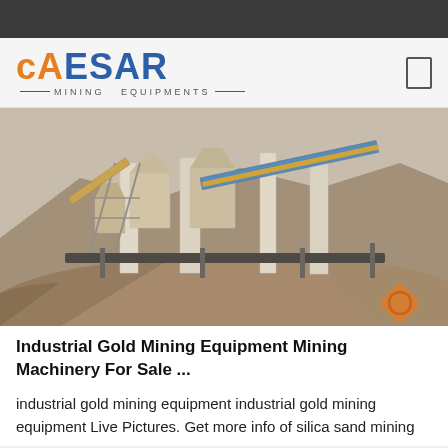CAESAR MINING EQUIPMENTS
[Figure (photo): Industrial gold mining equipment facility with conveyor belts, silos, and processing machinery at an outdoor mining site with large mounds of earth/sand.]
Industrial Gold Mining Equipment Mining Machinery For Sale ...
industrial gold mining equipment industrial gold mining equipment Live Pictures. Get more info of silica sand mining